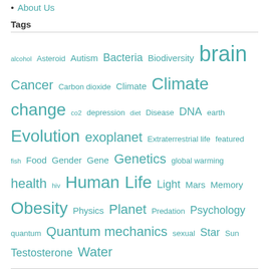About Us
Tags
alcohol Asteroid Autism Bacteria Biodiversity brain Cancer Carbon dioxide Climate Climate change co2 depression diet Disease DNA earth Evolution exoplanet Extraterrestrial life featured fish Food Gender Gene Genetics global warming health hiv Human Life Light Mars Memory Obesity Physics Planet Predation Psychology quantum Quantum mechanics sexual Star Sun Testosterone Water
© 2016 ScienceAGoGo. All Rights Reserved.
Powered by WordPress. Designed by WooThemes